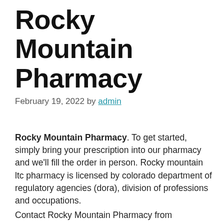Rocky Mountain Pharmacy
February 19, 2022 by admin
Rocky Mountain Pharmacy. To get started, simply bring your prescription into our pharmacy and we’ll fill the order in person. Rocky mountain ltc pharmacy is licensed by colorado department of regulatory agencies (dora), division of professions and occupations.
Contact Rocky Mountain Pharmacy from rockymountainpharmacyidahofalls.com